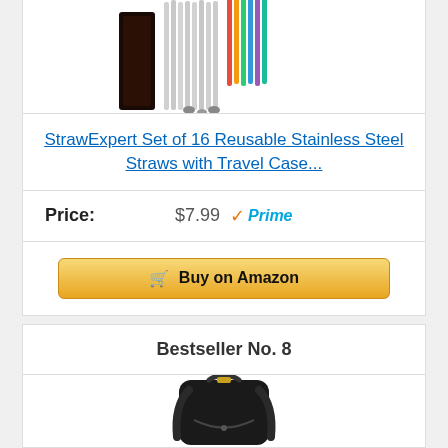[Figure (photo): Product photo of stainless steel straws with black travel case and cleaning brushes]
StrawExpert Set of 16 Reusable Stainless Steel Straws with Travel Case...
Price: $7.99 ✓Prime
Buy on Amazon
Bestseller No. 8
[Figure (photo): Product photo of black backpack]